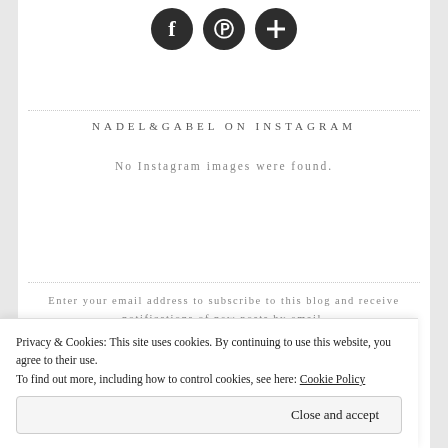[Figure (infographic): Three circular social media icons: Facebook (f logo), Pinterest (P logo), and a plus/add icon, all dark/black circles]
NADEL&GABEL ON INSTAGRAM
No Instagram images were found.
Enter your email address to subscribe to this blog and receive notifications of new posts by email.
Enter your email address
Privacy & Cookies: This site uses cookies. By continuing to use this website, you agree to their use.
To find out more, including how to control cookies, see here: Cookie Policy
Close and accept